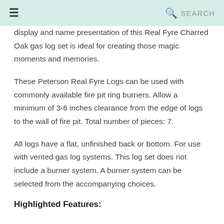≡  🔍 SEARCH
display and name presentation of this Real Fyre Charred Oak gas log set is ideal for creating those magic moments and memories.
These Peterson Real Fyre Logs can be used with commonly available fire pit ring burners. Allow a minimum of 3-6 inches clearance from the edge of logs to the wall of fire pit. Total number of pieces: 7.
All logs have a flat, unfinished back or bottom. For use with vented gas log systems. This log set does not include a burner system. A burner system can be selected from the accompanying choices.
Highlighted Features: